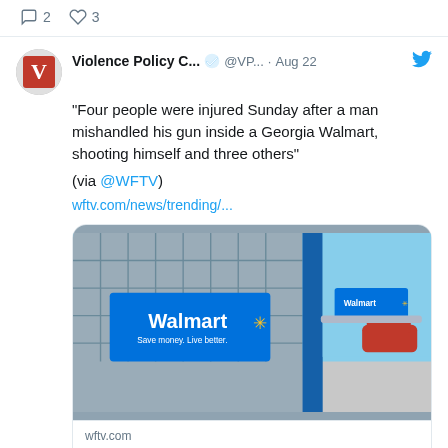2  3
Violence Policy C... @VP... · Aug 22
"Four people were injured Sunday after a man mishandled his gun inside a Georgia Walmart, shooting himself and three others"

(via @WFTV)
wftv.com/news/trending/...
[Figure (photo): Photo of a Walmart shopping cart with Walmart branded sign in the foreground, showing the Walmart logo with tagline 'Save money. Live better.' Blue metal posts and cart return area visible. A Walmart store and red car visible in the background.]
wftv.com
4 shot inside Georgia Walmart after man mishandles gun, police say